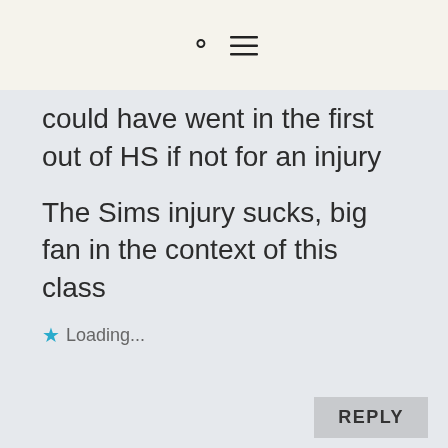could have went in the first out of HS if not for an injury
The Sims injury sucks, big fan in the context of this class
Loading...
REPLY